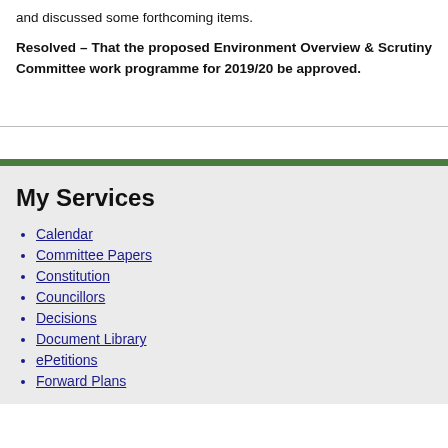and discussed some forthcoming items.
Resolved – That the proposed Environment Overview & Scrutiny Committee work programme for 2019/20 be approved.
My Services
Calendar
Committee Papers
Constitution
Councillors
Decisions
Document Library
ePetitions
Forward Plans